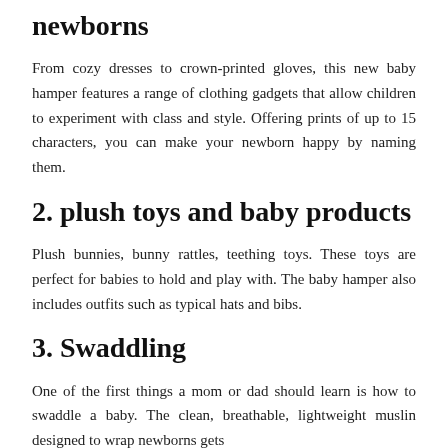newborns
From cozy dresses to crown-printed gloves, this new baby hamper features a range of clothing gadgets that allow children to experiment with class and style. Offering prints of up to 15 characters, you can make your newborn happy by naming them.
2. plush toys and baby products
Plush bunnies, bunny rattles, teething toys. These toys are perfect for babies to hold and play with. The baby hamper also includes outfits such as typical hats and bibs.
3. Swaddling
One of the first things a mom or dad should learn is how to swaddle a baby. The clean, breathable, lightweight muslin designed to wrap newborns gets